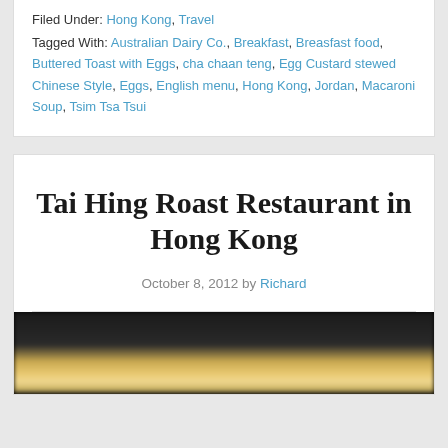Filed Under: Hong Kong, Travel
Tagged With: Australian Dairy Co., Breakfast, Breasfast food, Buttered Toast with Eggs, cha chaan teng, Egg Custard stewed Chinese Style, Eggs, English menu, Hong Kong, Jordan, Macaroni Soup, Tsim Tsa Tsui
Tai Hing Roast Restaurant in Hong Kong
October 8, 2012 by Richard
[Figure (photo): Blurred close-up food photo on dark background, partial view of a dish]